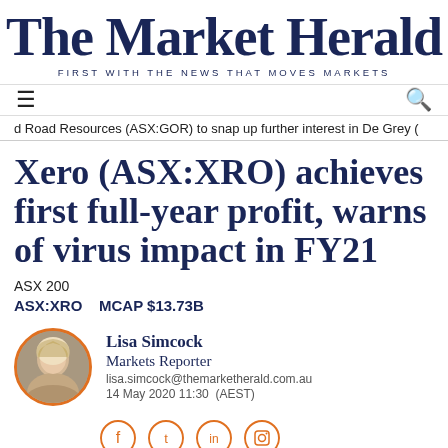The Market Herald
FIRST WITH THE NEWS THAT MOVES MARKETS
d Road Resources (ASX:GOR) to snap up further interest in De Grey (
Xero (ASX:XRO) achieves first full-year profit, warns of virus impact in FY21
ASX 200
ASX:XRO    MCAP $13.73B
Lisa Simcock
Markets Reporter
lisa.simcock@themarketherald.com.au
14 May 2020 11:30  (AEST)